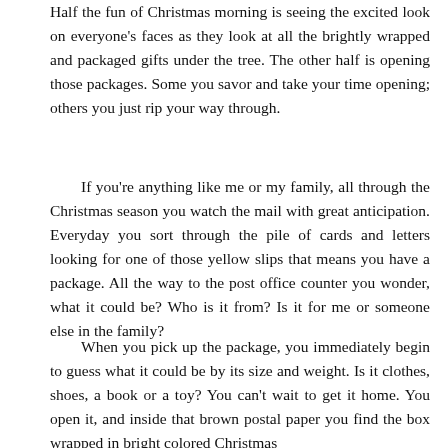Half the fun of Christmas morning is seeing the excited look on everyone's faces as they look at all the brightly wrapped and packaged gifts under the tree. The other half is opening those packages. Some you savor and take your time opening; others you just rip your way through.
If you're anything like me or my family, all through the Christmas season you watch the mail with great anticipation. Everyday you sort through the pile of cards and letters looking for one of those yellow slips that means you have a package. All the way to the post office counter you wonder, what it could be? Who is it from? Is it for me or someone else in the family?
When you pick up the package, you immediately begin to guess what it could be by its size and weight. Is it clothes, shoes, a book or a toy? You can't wait to get it home. You open it, and inside that brown postal paper you find the box wrapped in bright colored Christmas